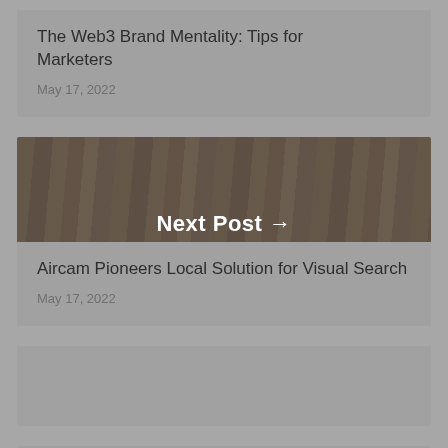The Web3 Brand Mentality: Tips for Marketers
May 17, 2022
[Figure (photo): Clothes hanging on a rack, overlaid with semi-transparent dark tint and 'Next Post →' label in white bold text]
Aircam Pioneers Local Solution for Visual Search
May 17, 2022